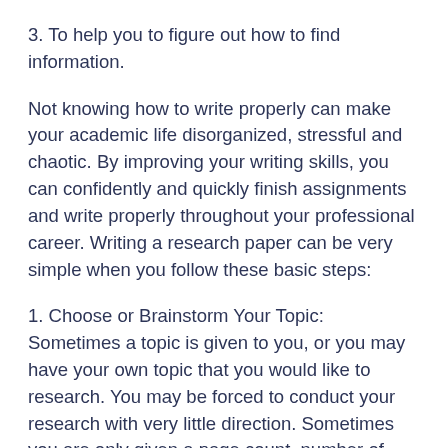3. To help you to figure out how to find information.
Not knowing how to write properly can make your academic life disorganized, stressful and chaotic. By improving your writing skills, you can confidently and quickly finish assignments and write properly throughout your professional career. Writing a research paper can be very simple when you follow these basic steps:
1. Choose or Brainstorm Your Topic: Sometimes a topic is given to you, or you may have your own topic that you would like to research. You may be forced to conduct your research with very little direction. Sometimes you are only given a page count, number of sources and a deadline. It is helpful to begin by brainstorming a topic. Writing down a